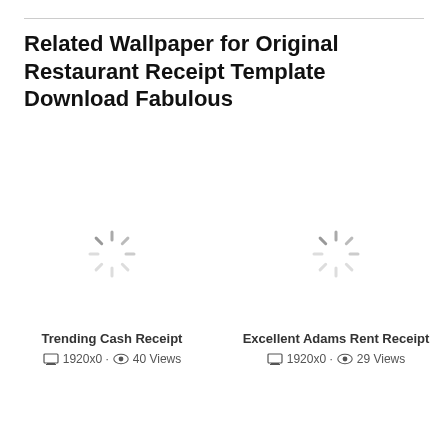Related Wallpaper for Original Restaurant Receipt Template Download Fabulous
[Figure (other): Loading spinner icon for Trending Cash Receipt image]
Trending Cash Receipt
1920x0 · 40 Views
[Figure (other): Loading spinner icon for Excellent Adams Rent Receipt image]
Excellent Adams Rent Receipt
1920x0 · 29 Views